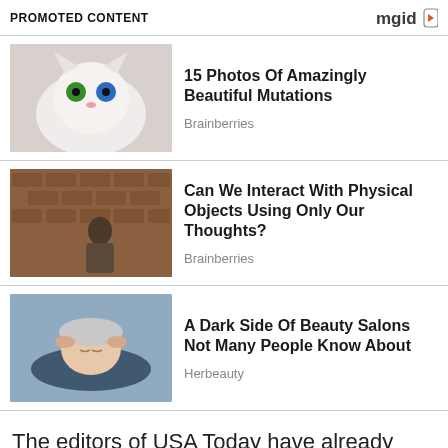PROMOTED CONTENT
[Figure (photo): White cat with heterochromia — one green eye and one blue eye]
15 Photos Of Amazingly Beautiful Mutations
Brainberries
[Figure (photo): Person in a room with brick wall background]
Can We Interact With Physical Objects Using Only Our Thoughts?
Brainberries
[Figure (photo): Woman getting hair washed at a salon sink with foil on hair]
A Dark Side Of Beauty Salons Not Many People Know About
Herbeauty
The editors of USA Today have already established that it is unquestionably,